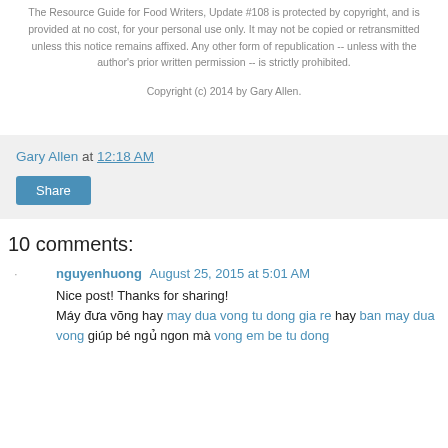The Resource Guide for Food Writers, Update #108 is protected by copyright, and is provided at no cost, for your personal use only. It may not be copied or retransmitted unless this notice remains affixed. Any other form of republication -- unless with the author's prior written permission -- is strictly prohibited.
Copyright (c) 2014 by Gary Allen.
Gary Allen at 12:18 AM
Share
10 comments:
nguyenhuong August 25, 2015 at 5:01 AM
Nice post! Thanks for sharing! Máy đưa võng hay may dua vong tu dong gia re hay ban may dua vong giúp bé ngủ ngon mà vong em be tu dong